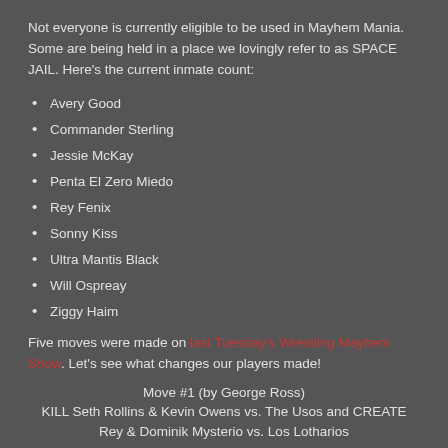Not everyone is currently eligible to be used in Mayhem Mania. Some are being held in a place we lovingly refer to as SPACE JAIL. Here's the current inmate count:
Avery Good
Commander Sterling
Jessie McKay
Penta El Zero Miedo
Rey Fenix
Sonny Kiss
Ultra Mantis Black
Will Ospreay
Ziggy Haim
Five moves were made on last Tuesday's Wrestling Mayhem Show. Let's see what changes our players made!
Move #1 (by George Ross)
KILL Seth Rollins & Kevin Owens vs. The Usos and CREATE Rey & Dominik Mysterio vs. Los Lotharios